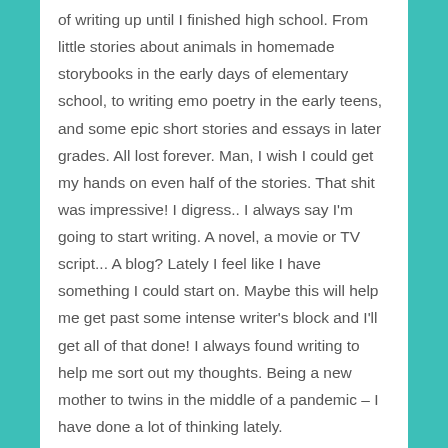of writing up until I finished high school. From little stories about animals in homemade storybooks in the early days of elementary school, to writing emo poetry in the early teens, and some epic short stories and essays in later grades. All lost forever. Man, I wish I could get my hands on even half of the stories. That shit was impressive! I digress.. I always say I'm going to start writing. A novel, a movie or TV script... A blog? Lately I feel like I have something I could start on. Maybe this will help me get past some intense writer's block and I'll get all of that done! I always found writing to help me sort out my thoughts. Being a new mother to twins in the middle of a pandemic – I have done a lot of thinking lately.
Life is funny. I used to judge people on their